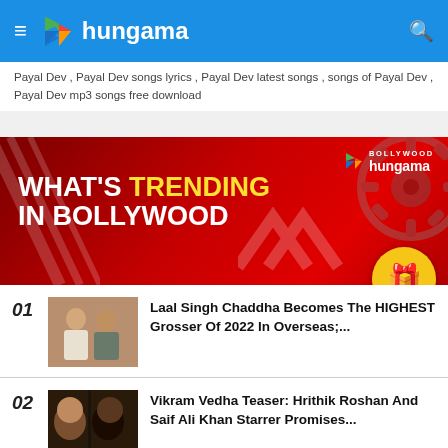hungama
Payal Dev , Payal Dev songs lyrics , Payal Dev latest songs , songs of Payal Dev , Payal Dev mp3 songs free download
[Figure (illustration): Bollywood Hungama - What's Trending in Bollywood promotional banner with red background]
01 Laal Singh Chaddha Becomes The HIGHEST Grosser Of 2022 In Overseas;...
02 Vikram Vedha Teaser: Hrithik Roshan And Saif Ali Khan Starrer Promises...